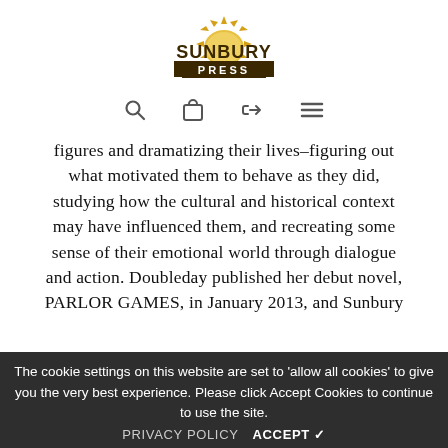[Figure (logo): Sunbury Press logo with golden sun rays above 'SUNBURY' in dark brown bold letters and 'PRESS' in a dark brown banner below]
[Figure (other): Navigation icon bar with search (magnifying glass), shopping bag, login arrow, and hamburger menu icons]
figures and dramatizing their lives–figuring out what motivated them to behave as they did, studying how the cultural and historical context may have influenced them, and recreating some sense of their emotional world through dialogue and action. Doubleday published her debut novel, PARLOR GAMES, in January 2013, and Sunbury
Oregon, that edgy, green gem of the Pacific Northwest. Learn more at marykabiaggio.com.
The cookie settings on this website are set to 'allow all cookies' to give you the very best experience. Please click Accept Cookies to continue to use the site.
PRIVACY POLICY   ACCEPT ✓